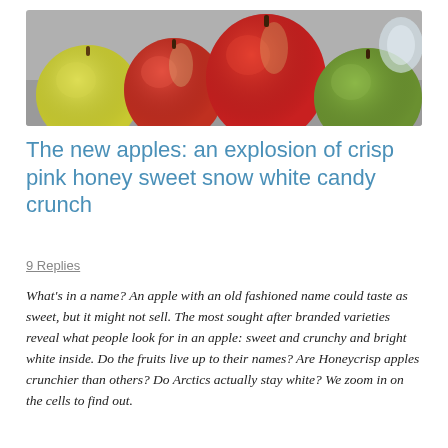[Figure (photo): Four apples in a row on a surface: yellow-green apple on far left, red apple second from left, large red apple in center, and green apple on far right, with grey background]
The new apples: an explosion of crisp pink honey sweet snow white candy crunch
9 Replies
What's in a name?  An apple with an old fashioned name could taste as sweet, but it might not sell.  The most sought after branded varieties reveal what people look for in an apple: sweet and crunchy and bright white inside.  Do the fruits live up to their names?  Are Honeycrisp apples crunchier than others?  Do Arctics actually stay white?  We zoom in on the cells to find out.